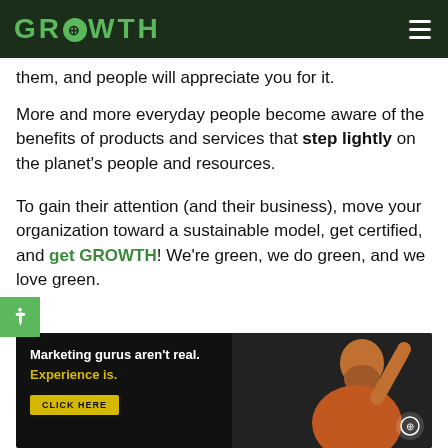GROWTH
them, and people will appreciate you for it.
More and more everyday people become aware of the benefits of products and services that step lightly on the planet's people and resources.
To gain their attention (and their business), move your organization toward a sustainable model, get certified, and get GROWTH! We're green, we do green, and we love green.
[Figure (screenshot): Dark advertisement banner with text 'Marketing gurus aren't real. Experience is.' in white and yellow, a 'CLICK HERE' button, and a photo of a bearded man in an orange shirt pointing upward, with a circular tree logo icon.]